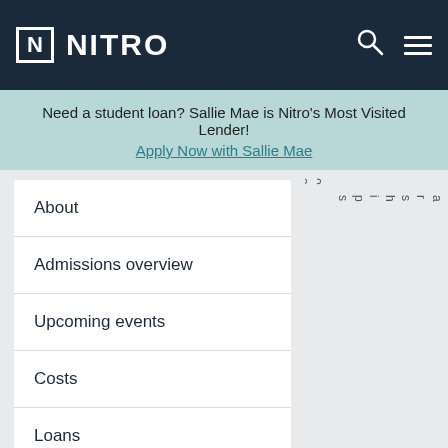[Figure (logo): Nitro logo - N in a box followed by NITRO text on dark navy background with search and menu icons]
Need a student loan? Sallie Mae is Nitro's Most Visited Lender! Apply Now with Sallie Mae
About
Admissions overview
Upcoming events
Costs
Loans
FAQs
Average Out-of-state tuition 0,517 — Average Scholarships $10,000